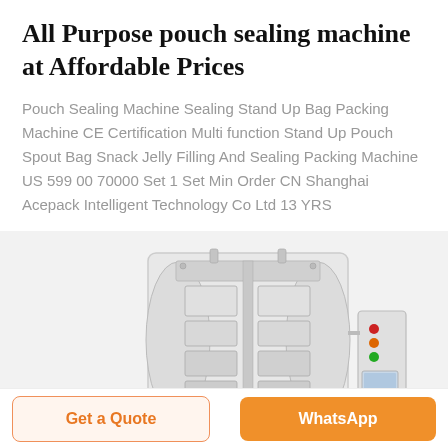All Purpose pouch sealing machine at Affordable Prices
Pouch Sealing Machine Sealing Stand Up Bag Packing Machine CE Certification Multi function Stand Up Pouch Spout Bag Snack Jelly Filling And Sealing Packing Machine US 599 00 70000 Set 1 Set Min Order CN Shanghai Acepack Intelligent Technology Co Ltd 13 YRS
[Figure (photo): Industrial pouch sealing machine with transparent enclosure, mechanical components visible inside, and a control panel with indicator lights on the right side]
Get a Quote
WhatsApp